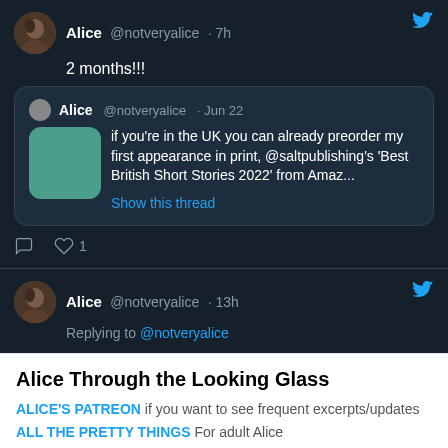[Figure (screenshot): Twitter/X screenshot showing two tweets by Alice @notveryalice. First tweet (7h ago): '2 months!!!' with a quoted tweet from Alice @notveryalice Jun 22 about preordering 'Best British Short Stories 2022' from saltpublishing on Amazon, with a teal book cover thumbnail. Second tweet (13h ago): 'Replying to @notveryalice'.]
Alice Through the Looking Glass
ALICE'S PATREON if you want to see frequent excerpts/updates
ALL THE PRETTY THINGS For adult Alice